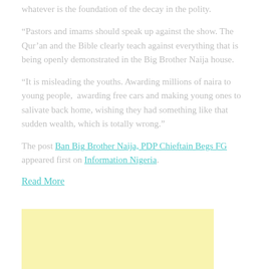whatever is the foundation of the decay in the polity.
“Pastors and imams should speak up against the show. The Qur’an and the Bible clearly teach against everything that is being openly demonstrated in the Big Brother Naija house.
“It is misleading the youths. Awarding millions of naira to young people,  awarding free cars and making young ones to salivate back home, wishing they had something like that sudden wealth, which is totally wrong.”
The post Ban Big Brother Naija, PDP Chieftain Begs FG appeared first on Information Nigeria.
Read More
[Figure (other): Yellow advertisement banner placeholder box]